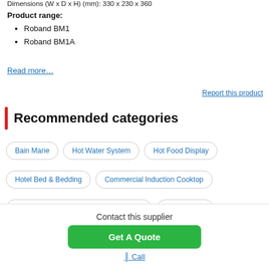Dimensions (W x D x H) (mm): 330 x 230 x 360
Product range:
Roband BM1
Roband BM1A
Read more...
Report this product
Recommended categories
Bain Marie
Hot Water System
Hot Food Display
Hotel Bed & Bedding
Commercial Induction Cooktop
Commercial Undercounter Glasswasher
Bread Slicer
Contact this supplier
Get A Quote
Call